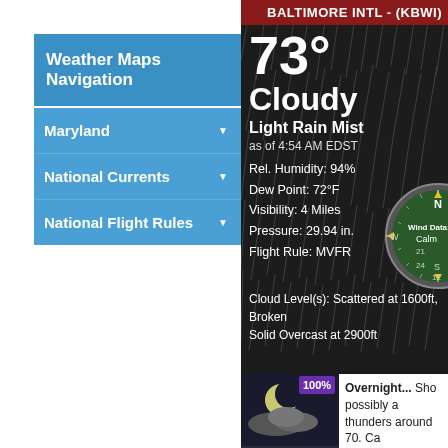Weather Maps Navigation
Maryland
National Currents
National Flight Rules
BALTIMORE INTL - (KBWI)
73°
Cloudy
Light Rain Mist
as of 4:54 AM EDST
Rel. Humidity: 94%
Dew Point: 72°F
Visibility: 4 Miles
Pressure: 29.94 in.
Flight Rule: MVFR
[Figure (other): Wind compass showing N/S/W/E and degree markings 12, 21, 24, 30, 33 with Wind Data: Calm label]
Cloud Level(s): Scattered at 1600ft, Broken
Solid Overcast at 2900ft
[Figure (photo): Night forecast image with moon and clouds showing 100% precipitation probability]
Overnight... Sho possibly a thunders around 70. Ca